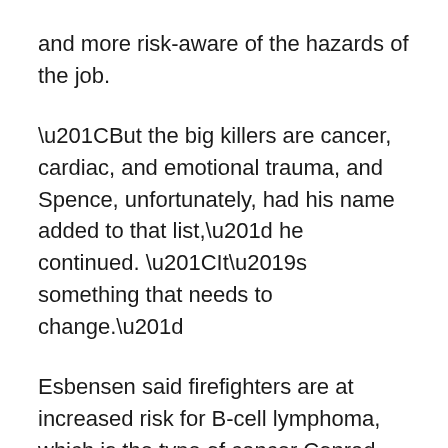and more risk-aware of the hazards of the job.
“But the big killers are cancer, cardiac, and emotional trauma, and Spence, unfortunately, had his name added to that list,” he continued. “It’s something that needs to change.”
Esbensen said firefighters are at increased risk for B-cell lymphoma, which is the type of cancer Conrad had.